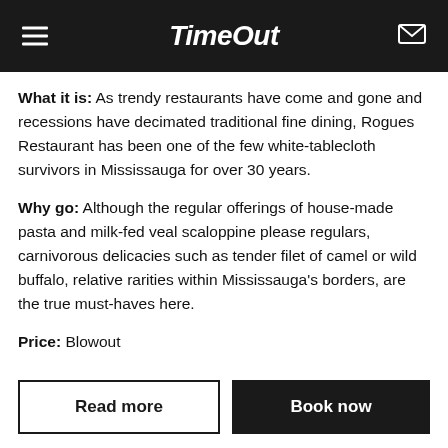TimeOut
What it is: As trendy restaurants have come and gone and recessions have decimated traditional fine dining, Rogues Restaurant has been one of the few white-tablecloth survivors in Mississauga for over 30 years.
Why go: Although the regular offerings of house-made pasta and milk-fed veal scaloppine please regulars, carnivorous delicacies such as tender filet of camel or wild buffalo, relative rarities within Mississauga's borders, are the true must-haves here.
Price: Blowout
Read more
Book now